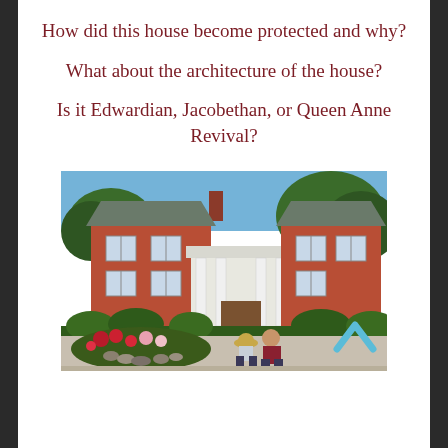How did this house become protected and why?
What about the architecture of the house?
Is it Edwardian, Jacobethan, or Queen Anne Revival?
[Figure (photo): Photograph of a red brick heritage house with white columned portico entrance, surrounded by trees and a garden with flowers and rocks in the foreground. Two people are crouching near the flower beds.]